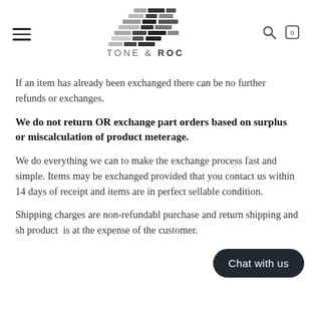[Figure (logo): Stone & Rock logo with stacked brick-pattern graphic above text 'STONE & ROCK']
If an item has already been exchanged there can be no further refunds or exchanges.
We do not return OR exchange part orders based on surplus or miscalculation of product meterage.
We do everything we can to make the exchange process fast and simple. Items may be exchanged provided that you contact us within 14 days of receipt and items are in perfect sellable condition.
Shipping charges are non-refundable, purchase and return shipping and shipping of product is at the expense of the customer.